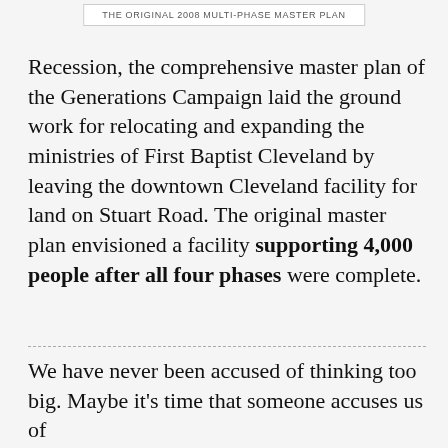THE ORIGINAL 2008 MULTI-PHASE MASTER PLAN
Recession, the comprehensive master plan of the Generations Campaign laid the ground work for relocating and expanding the ministries of First Baptist Cleveland by leaving the downtown Cleveland facility for land on Stuart Road. The original master plan envisioned a facility supporting 4,000 people after all four phases were complete.
We have never been accused of thinking too big. Maybe it's time that someone accuses us of